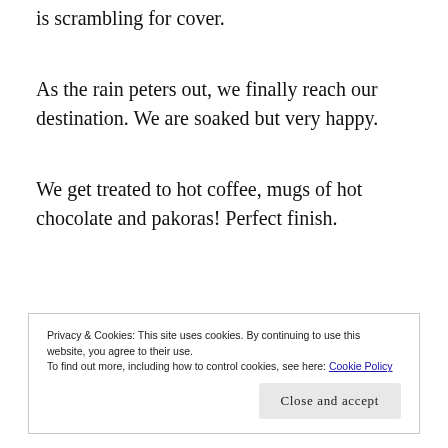is scrambling for cover.
As the rain peters out, we finally reach our destination. We are soaked but very happy.
We get treated to hot coffee, mugs of hot chocolate and pakoras! Perfect finish.
Privacy & Cookies: This site uses cookies. By continuing to use this website, you agree to their use.
To find out more, including how to control cookies, see here: Cookie Policy
Close and accept